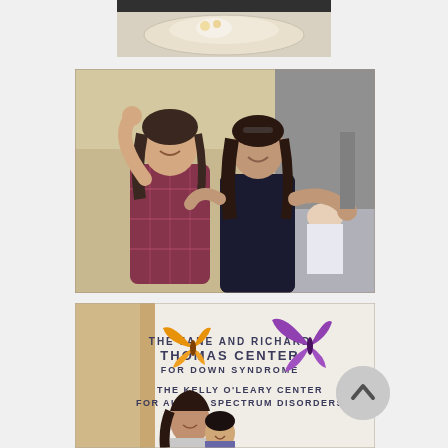[Figure (photo): Hospital food tray with what appears to be a meal, top portion cropped]
[Figure (photo): Two young women posing and smiling in a hospital room; one in a red plaid shirt with arm raised, the other in a dark hoodie with arms spread wide. A patient can be seen in a hospital bed in the background.]
[Figure (photo): A woman and a young child posing in front of a wall sign that reads 'THE JANE AND RICHARD THOMAS CENTER FOR DOWN SYNDROME' and 'THE KELLY O'LEARY CENTER FOR AUTISM SPECTRUM DISORDERS', with decorative butterfly logos (orange and purple).]